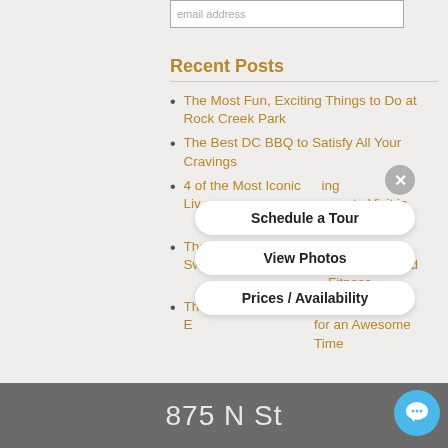email address
Recent Posts
The Most Fun, Exciting Things to Do at Rock Creek Park
The Best DC BBQ to Satisfy All Your Cravings
4 of the Most Iconic Live … to Visit in D.C.
The Best DC Swimming Po… Relaxation and Fitness
The Most Fun and E… for an Awesome Time
[Figure (screenshot): Overlay panel with close button (X), Schedule a Tour button, View Photos button, and Prices / Availability button over the list content]
875 N St
[Figure (illustration): Blue circular chat/messaging button in the bottom right corner]